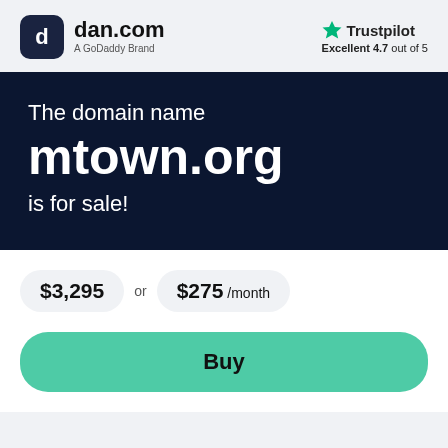[Figure (logo): dan.com logo - dark rounded square with 'd' icon and text 'dan.com', subtitle 'A GoDaddy Brand']
[Figure (logo): Trustpilot logo with green star, text 'Trustpilot', subtitle 'Excellent 4.7 out of 5']
The domain name mtown.org is for sale!
$3,295 or $275 /month
Buy